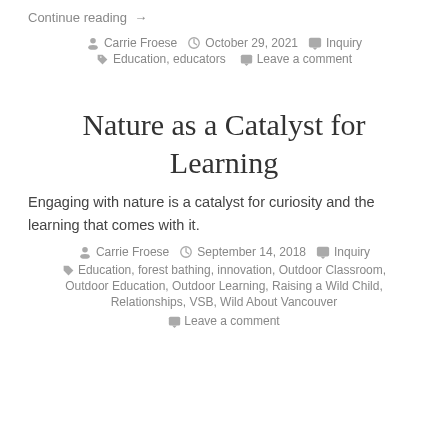Continue reading →
Carrie Froese  October 29, 2021  Inquiry
Education, educators  Leave a comment
Nature as a Catalyst for Learning
Engaging with nature is a catalyst for curiosity and the learning that comes with it.
Carrie Froese  September 14, 2018  Inquiry
Education, forest bathing, innovation, Outdoor Classroom, Outdoor Education, Outdoor Learning, Raising a Wild Child, Relationships, VSB, Wild About Vancouver
Leave a comment